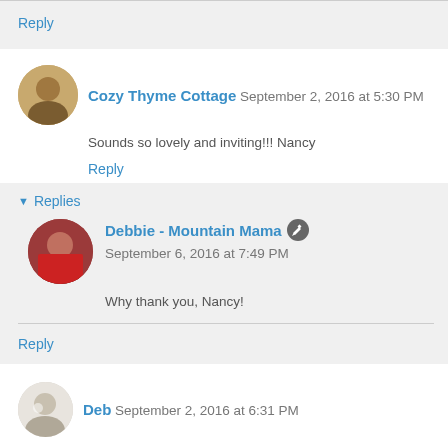Reply
Cozy Thyme Cottage  September 2, 2016 at 5:30 PM
Sounds so lovely and inviting!!! Nancy
Reply
Replies
Debbie - Mountain Mama  September 6, 2016 at 7:49 PM
Why thank you, Nancy!
Reply
Deb  September 2, 2016 at 6:31 PM
I love your dining room. It always looks so welcoming there. Your table cloth is gorgeous with all my favorite colours for...